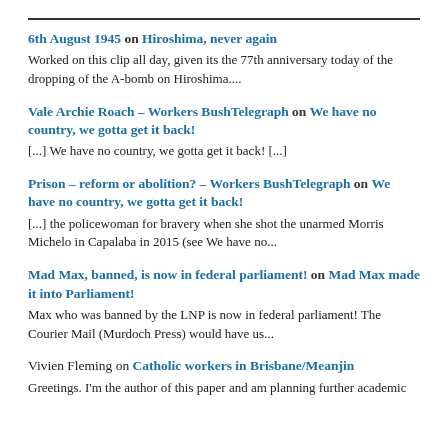6th August 1945 on Hiroshima, never again
Worked on this clip all day, given its the 77th anniversary today of the dropping of the A-bomb on Hiroshima....
Vale Archie Roach – Workers BushTelegraph on We have no country, we gotta get it back!
[...] We have no country, we gotta get it back! [...]
Prison – reform or abolition? – Workers BushTelegraph on We have no country, we gotta get it back!
[...] the policewoman for bravery when she shot the unarmed Morris Michelo in Capalaba in 2015 (see We have no...
Mad Max, banned, is now in federal parliament! on Mad Max made it into Parliament!
Max who was banned by the LNP is now in federal parliament! The Courier Mail (Murdoch Press) would have us...
Vivien Fleming on Catholic workers in Brisbane/Meanjin
Greetings. I'm the author of this paper and am planning further academic